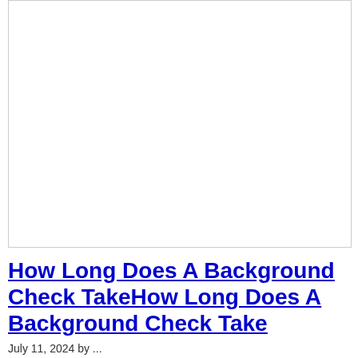[Figure (other): White rectangle image placeholder with border]
How Long Does A Background Check TakeHow Long Does A Background Check Take
July 11, 2024 by ...